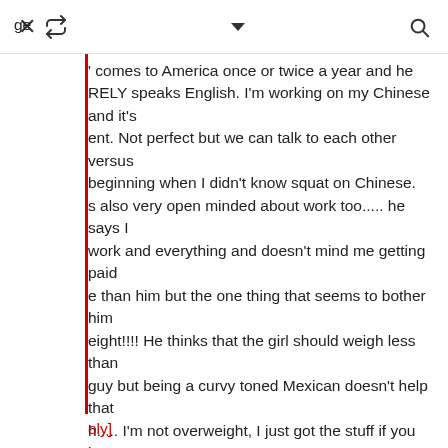× ↩ ∨ 🔍
' comes to America once or twice a year and he RELY speaks English. I'm working on my Chinese and it's ent. Not perfect but we can talk to each other versus beginning when I didn't know squat on Chinese. s also very open minded about work too..... he says I work and everything and doesn't mind me getting paid e than him but the one thing that seems to bother him eight!!!! He thinks that the girl should weigh less than guy but being a curvy toned Mexican doesn't help that h..... I'm not overweight, I just got the stuff if you know it I mean.

o, is age difference an issue when dating??? I'm 18 and  21 and I know in my culture that's a big shocker but is  in China??
ge
oly]